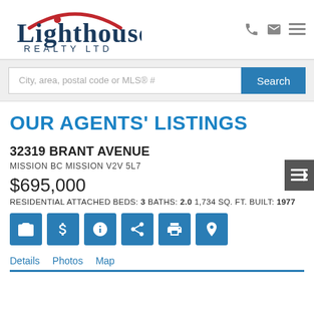[Figure (logo): Lighthouse Realty Ltd logo with red arc and dark blue text]
City, area, postal code or MLS® #
OUR AGENTS' LISTINGS
32319 BRANT AVENUE
MISSION BC MISSION V2V 5L7
$695,000
RESIDENTIAL ATTACHED BEDS: 3 BATHS: 2.0 1,734 SQ. FT. BUILT: 1977
Details
Photos
Map